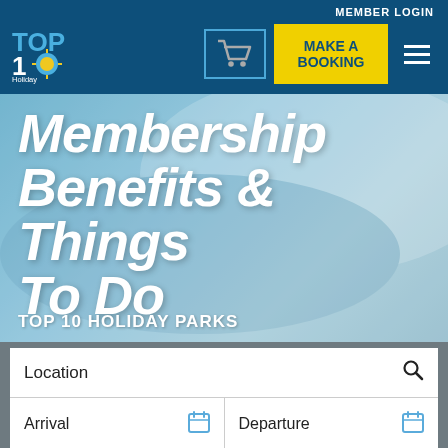MEMBER LOGIN
[Figure (logo): TOP 10 Holiday Parks Group logo with blue text and sun/ball icon]
[Figure (infographic): Shopping cart icon in outlined box]
[Figure (infographic): Yellow MAKE A BOOKING button]
[Figure (infographic): Hamburger menu icon (three horizontal lines)]
Membership Benefits & Things To Do
TOP 10 HOLIDAY PARKS
Location
Arrival
Departure
Guests
Promo code